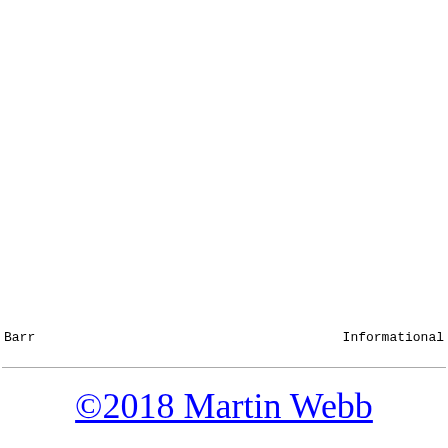Barr                    Informational
©2018 Martin Webb